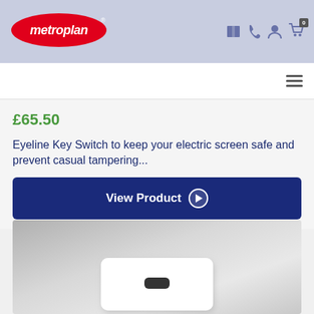[Figure (logo): Metroplan logo — red oval with white 'metroplan' text in italic, with registered trademark symbol]
£65.50
Eyeline Key Switch to keep your electric screen safe and prevent casual tampering...
View Product
[Figure (photo): Product photo of a white rectangular key switch device on a grey gradient background]